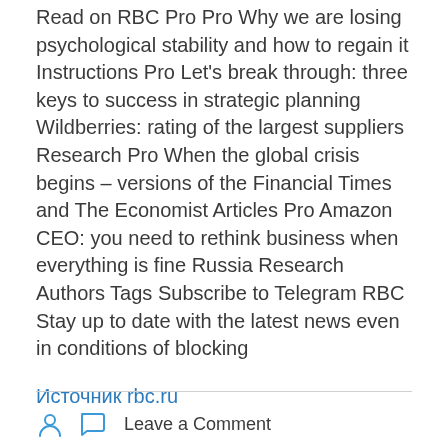Read on RBC Pro Pro Why we are losing psychological stability and how to regain it Instructions Pro Let's break through: three keys to success in strategic planning Wildberries: rating of the largest suppliers Research Pro When the global crisis begins – versions of the Financial Times and The Economist Articles Pro Amazon CEO: you need to rethink business when everything is fine Russia Research Authors Tags Subscribe to Telegram RBC Stay up to date with the latest news even in conditions of blocking
Источник rbc.ru
Leave a Comment